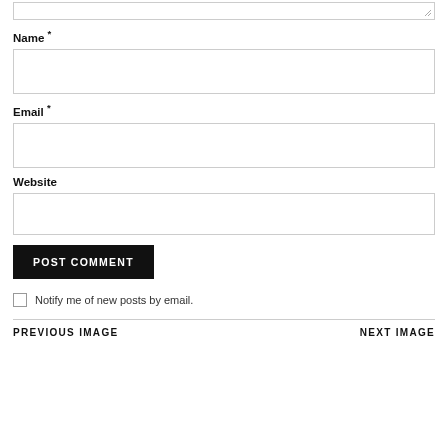Name *
Email *
Website
POST COMMENT
Notify me of new posts by email.
PREVIOUS IMAGE
NEXT IMAGE